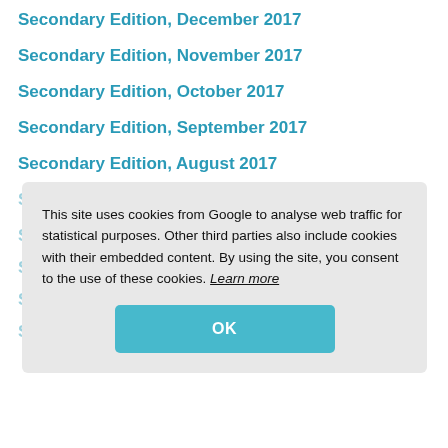Secondary Edition, December 2017
Secondary Edition, November 2017
Secondary Edition, October 2017
Secondary Edition, September 2017
Secondary Edition, August 2017
Secondary Edition, July 2017
Secondary Edition, June 2017
Secondary Edition, May 2017
Secondary Edition, April 2017
Secondary Edition, March 2017
This site uses cookies from Google to analyse web traffic for statistical purposes. Other third parties also include cookies with their embedded content. By using the site, you consent to the use of these cookies. Learn more